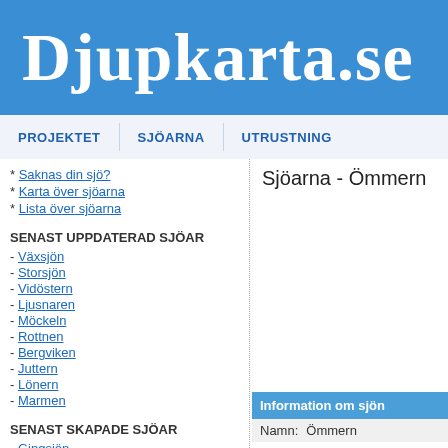Djupkarta.se
PROJEKTET   SJÖARNA   UTRUSTNING
* Saknas din sjö?
* Karta över sjöarna
* Lista över sjöarna
SENAST UPPDATERAD SJÖAR
- Växsjön
- Storsjön
- Vidöstern
- Ljusnaren
- Möckeln
- Rottnen
- Bergviken
- Juttern
- Lönern
- Marmen
SENAST SKAPADE SJÖAR
- Gingsjön
Sjöarna - Ömmern
| Namn: | Ömmern |
| --- | --- |